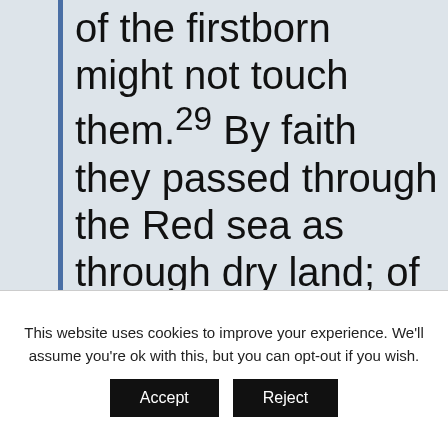of the firstborn might not touch them.29 By faith they passed through the Red sea as through dry land; of which the Egyptians having made trial were swallowed up.30 By faith the walls of Jericho fell, having been encircled for
This website uses cookies to improve your experience. We'll assume you're ok with this, but you can opt-out if you wish.